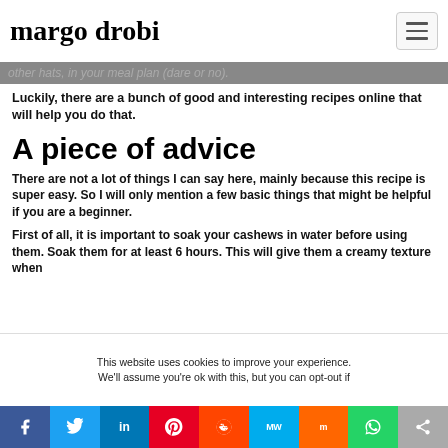margo drobi
other hats, in your meal plan (dare or no).
Luckily, there are a bunch of good and interesting recipes online that will help you do that.
A piece of advice
There are not a lot of things I can say here, mainly because this recipe is super easy. So I will only mention a few basic things that might be helpful if you are a beginner.
First of all, it is important to soak your cashews in water before using them. Soak them for at least 6 hours. This will give them a creamy texture when
This website uses cookies to improve your experience. We'll assume you're ok with this, but you can opt-out if
f  Twitter  in  P  Reddit  MW  Mix  WhatsApp  Share